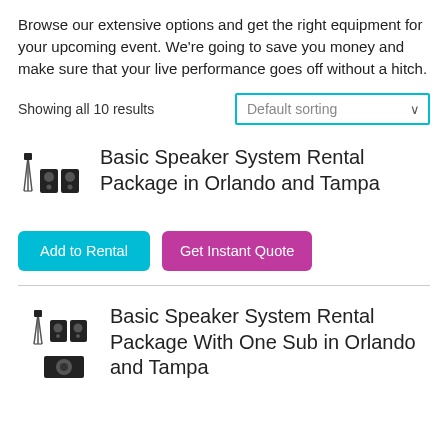Browse our extensive options and get the right equipment for your upcoming event. We're going to save you money and make sure that your live performance goes off without a hitch.
Showing all 10 results
Default sorting
Basic Speaker System Rental Package in Orlando and Tampa
Add to Rental
Get Instant Quote
Basic Speaker System Rental Package With One Sub in Orlando and Tampa